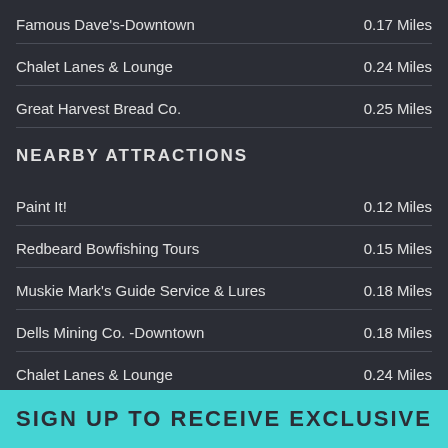Famous Dave's-Downtown    0.17 Miles
Chalet Lanes & Lounge    0.24 Miles
Great Harvest Bread Co.    0.25 Miles
NEARBY ATTRACTIONS
Paint It!    0.12 Miles
Redbeard Bowfishing Tours    0.15 Miles
Muskie Mark's Guide Service & Lures    0.18 Miles
Dells Mining Co. -Downtown    0.18 Miles
Chalet Lanes & Lounge    0.24 Miles
SIGN UP TO RECEIVE EXCLUSIVE